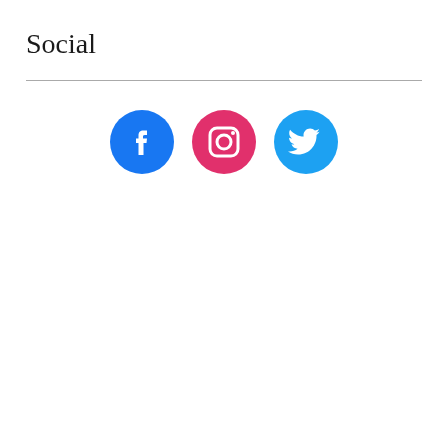Social
[Figure (illustration): Three social media icon circles: Facebook (blue circle with white 'f' logo), Instagram (pink/red circle with white camera logo), Twitter (light blue circle with white bird logo)]